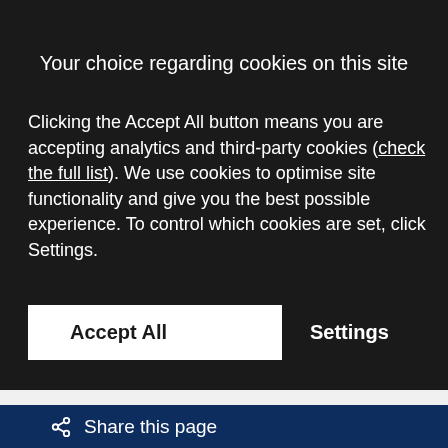Your choice regarding cookies on this site
Clicking the Accept All button means you are accepting analytics and third-party cookies (check the full list). We use cookies to optimise site functionality and give you the best possible experience. To control which cookies are set, click Settings.
Accept All
Settings
Share this page